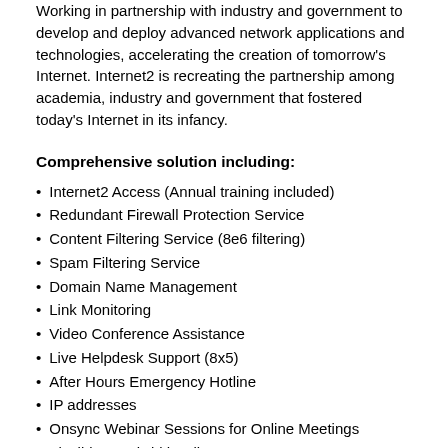Working in partnership with industry and government to develop and deploy advanced network applications and technologies, accelerating the creation of tomorrow's Internet. Internet2 is recreating the partnership among academia, industry and government that fostered today's Internet in its infancy.
Comprehensive solution including:
Internet2 Access (Annual training included)
Redundant Firewall Protection Service
Content Filtering Service (8e6 filtering)
Spam Filtering Service
Domain Name Management
Link Monitoring
Video Conference Assistance
Live Helpdesk Support (8x5)
After Hours Emergency Hotline
IP addresses
Onsync Webinar Sessions for Online Meetings
Flexible Bandwidth Adjustments